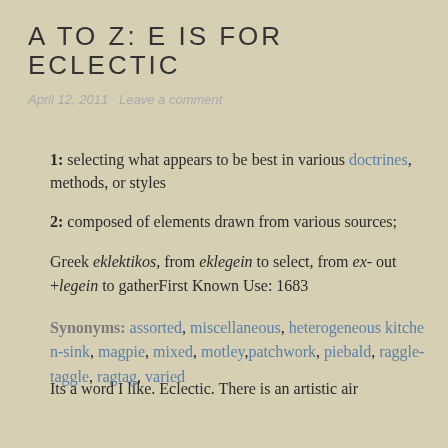A TO Z: E IS FOR ECLECTIC
April 12, 2011   Leave a comment
1: selecting what appears to be best in various doctrines, methods, or styles
2: composed of elements drawn from various sources;
Greek eklektikos, from eklegein to select, from ex- out +legein to gatherFirst Known Use: 1683
Synonyms: assorted, miscellaneous, heterogeneous kitchen-sink, magpie, mixed, motley, patchwork, piebald, raggle-taggle, ragtag, varied
Its a word I like. Eclectic. There is an artistic air